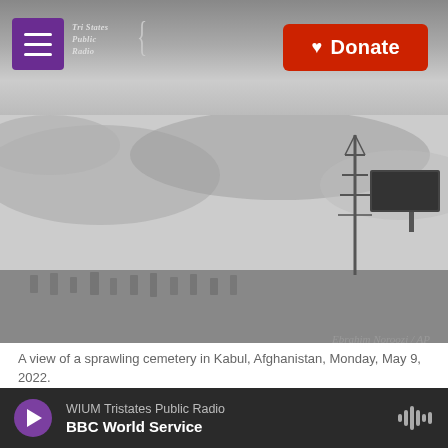Tri States Public Radio — Donate
[Figure (photo): Black and white photograph of a sprawling cemetery in Kabul, Afghanistan with a radio tower in the background against a cloudy sky. Header area of a public radio website showing hamburger menu, Tri States Public Radio logo, and a red Donate button.]
Ebrahim Noroozi / AP
A view of a sprawling cemetery in Kabul, Afghanistan, Monday, May 9, 2022.
Updated June 18, 2022 at 7:22 AM ET
ISLAMABAD — Several explosions and gunfire
WIUM Tristates Public Radio — BBC World Service